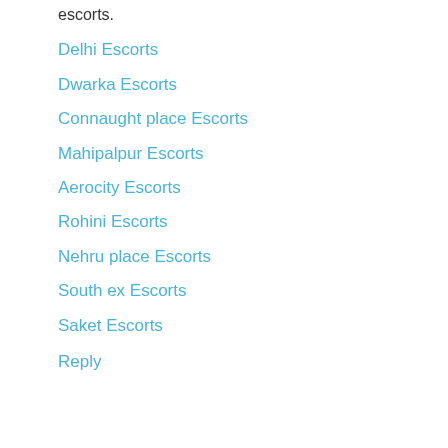escorts.
Delhi Escorts
Dwarka Escorts
Connaught place Escorts
Mahipalpur Escorts
Aerocity Escorts
Rohini Escorts
Nehru place Escorts
South ex Escorts
Saket Escorts
Reply